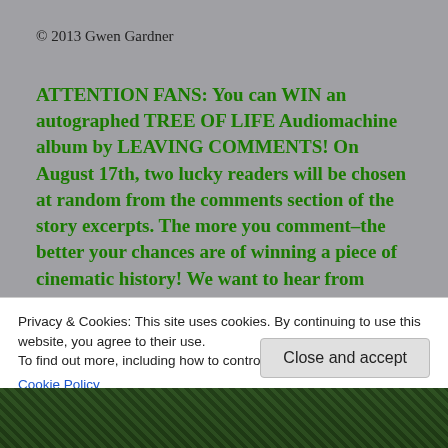© 2013 Gwen Gardner
ATTENTION FANS: You can WIN an autographed TREE OF LIFE Audiomachine album by LEAVING COMMENTS! On August 17th, two lucky readers will be chosen at random from the comments section of the story excerpts. The more you comment–the better your chances are of winning a piece of cinematic history! We want to hear from YOU!
Privacy & Cookies: This site uses cookies. By continuing to use this website, you agree to their use.
To find out more, including how to control cookies, see here:
Cookie Policy
Close and accept
[Figure (photo): Dark green foliage scene at the bottom of the page]